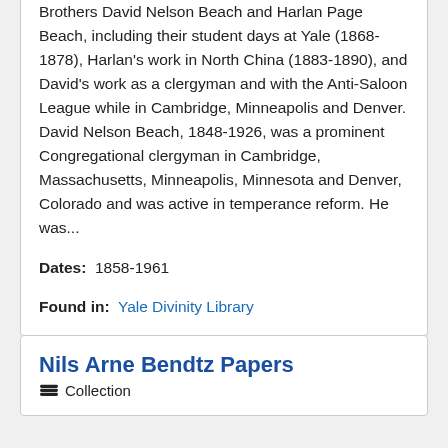Brothers David Nelson Beach and Harlan Page Beach, including their student days at Yale (1868-1878), Harlan's work in North China (1883-1890), and David's work as a clergyman and with the Anti-Saloon League while in Cambridge, Minneapolis and Denver. David Nelson Beach, 1848-1926, was a prominent Congregational clergyman in Cambridge, Massachusetts, Minneapolis, Minnesota and Denver, Colorado and was active in temperance reform. He was...
Dates: 1858-1961
Found in: Yale Divinity Library
Nils Arne Bendtz Papers
Collection